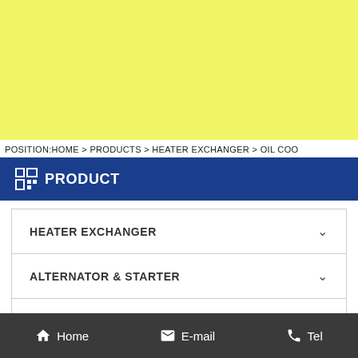[Figure (other): Yellow banner at top of page]
POSITION:HOME > PRODUCTS > HEATER EXCHANGER > OIL COO
PRODUCT
HEATER EXCHANGER
ALTERNATOR & STARTER
HEAVY DUTY PARTS
OTHER AUTO PARTS
[Figure (other): Yellow block below menu]
Home   E-mail   Tel